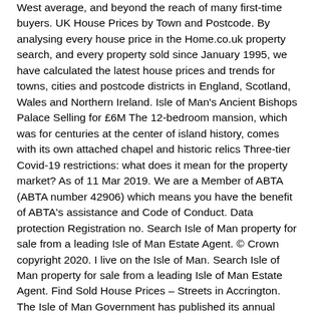West average, and beyond the reach of many first-time buyers. UK House Prices by Town and Postcode. By analysing every house price in the Home.co.uk property search, and every property sold since January 1995, we have calculated the latest house prices and trends for towns, cities and postcode districts in England, Scotland, Wales and Northern Ireland. Isle of Man's Ancient Bishops Palace Selling for £6M The 12-bedroom mansion, which was for centuries at the center of island history, comes with its own attached chapel and historic relics Three-tier Covid-19 restrictions: what does it mean for the property market? As of 11 Mar 2019. We are a Member of ABTA (ABTA number 42906) which means you have the benefit of ABTA's assistance and Code of Conduct. Data protection Registration no. Search Isle of Man property for sale from a leading Isle of Man Estate Agent. © Crown copyright 2020. I live on the Isle of Man. Search Isle of Man property for sale from a leading Isle of Man Estate Agent. Find Sold House Prices – Streets in Accrington. The Isle of Man Government has published its annual review of the property market for 2017. CONTACT US. The Home insurance comparison service is provided by Autonet Insurance Services Ltd, registered in England No. The IOM is a UK Island Dependency with its own government and taxation system. Use Rightmove online house price checker tool to find out exactly how much properties sold for in Isle Of Wight since 1995 (based on official Land Registry data). Report an